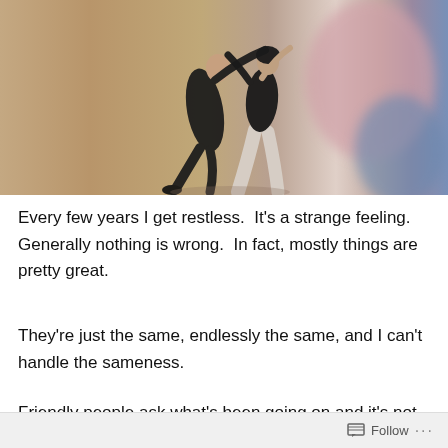[Figure (photo): Two dancers performing together, one in black clothing and one in light grey/white pants and black top, shot in a studio with warm beige background. A blurred pink/blue figure is visible on the right side.]
Every few years I get restless.  It's a strange feeling.  Generally nothing is wrong.  In fact, mostly things are pretty great.
They're just the same, endlessly the same, and I can't handle the sameness.
Friendly people ask what's been going on and it's not that I
Follow